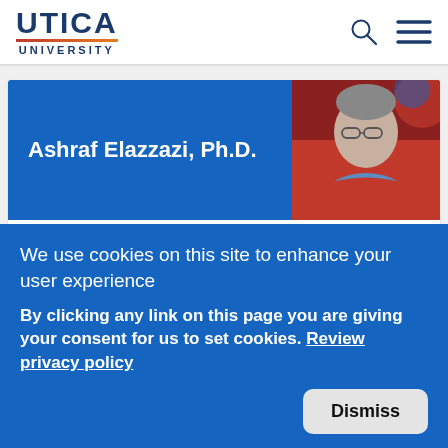UTICA UNIVERSITY
Ashraf Elazzazi, Ph.D.
[Figure (photo): Headshot photo of Ashraf Elazzazi wearing glasses and a red sweater]
Physical Therapy Department Chair
(315) 792-3313
We use cookies on this site to enhance your user experience
By clicking any link on this page you are giving your consent for us to set cookies. Review privacy policy
Dismiss